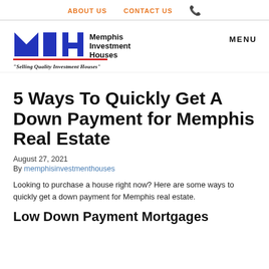ABOUT US   CONTACT US   📞
[Figure (logo): Memphis Investment Houses logo with blue stylized MIH letters and company name, tagline: "Selling Quality Investment Houses"]
5 Ways To Quickly Get A Down Payment for Memphis Real Estate
August 27, 2021
By memphisinvestmenthouses
Looking to purchase a house right now? Here are some ways to quickly get a down payment for Memphis real estate.
Low Down Payment Mortgages